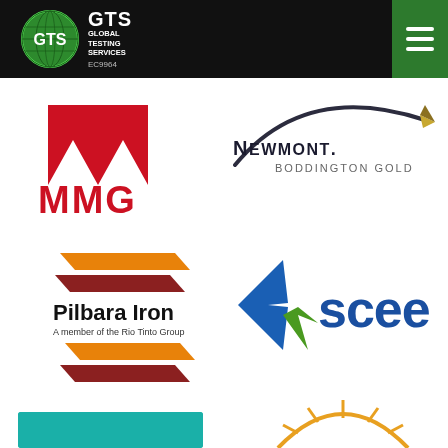GTS Global Testing Services EC9964 — navigation header with hamburger menu
[Figure (logo): MMG logo — large red stylized M letters with MMG text below]
[Figure (logo): Newmont Boddington Gold logo — black arc swoosh with gold/navy text]
[Figure (logo): Pilbara Iron logo — orange and red parallelogram chevrons with text 'Pilbara Iron A member of the Rio Tinto Group']
[Figure (logo): SCEE logo — blue and green star/arrow shape with large blue SCEE text]
[Figure (logo): Partial teal/turquoise logo bottom left (partially visible)]
[Figure (logo): Partial sun/star arc logo bottom right (partially visible)]